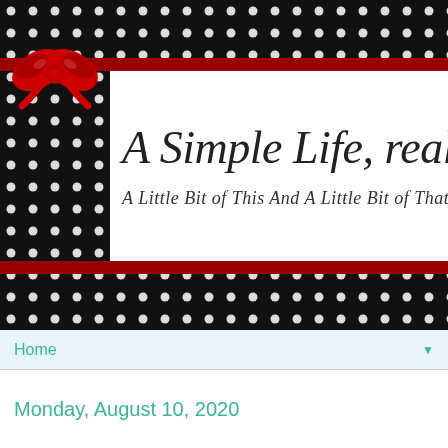[Figure (illustration): Blog header banner with black and white polka dot background, red ribbon borders, a red bow in the upper left, and a white card with the blog title 'A Simple Life, really' in italic script and subtitle 'A Little Bit of This And A Little Bit of That' in decorative script]
A Simple Life, really
A Little Bit of This And A Little Bit of That
Home
Monday, August 10, 2020